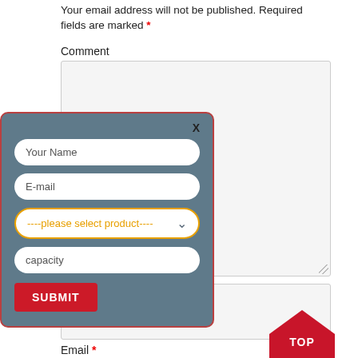Your email address will not be published. Required fields are marked *
Comment
[Figure (screenshot): Comment textarea form field (light gray background, bordered)]
[Figure (screenshot): Modal popup with dark teal background and red border containing form fields: Your Name, E-mail, product select dropdown, capacity input, and SUBMIT button. Close X in top right.]
[Figure (screenshot): Lower input text box (light gray background, bordered)]
Email *
[Figure (other): Red pentagon/arrow-shaped TOP button in bottom right corner]